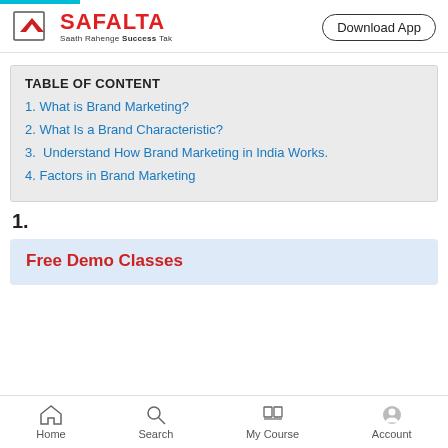SAFALTA — Saath Rahenge Success Tak | Download App
| TABLE OF CONTENT |
| --- |
| 1. What is Brand Marketing? |
| 2. What Is a Brand Characteristic? |
| 3. Understand How Brand Marketing in India Works. |
| 4. Factors in Brand Marketing |
1.
Free Demo Classes
Home | Search | My Course | Account